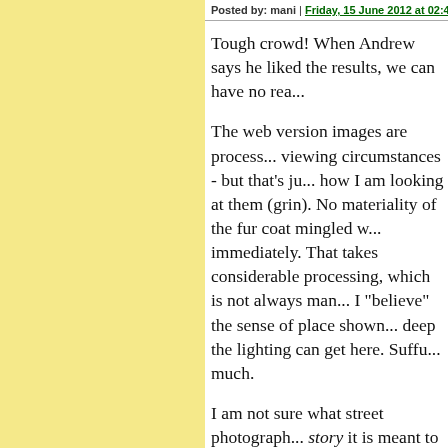Posted by: mani | Friday, 15 June 2012 at 02:43 AM
Tough crowd! When Andrew says he liked the results, we can have no rea...
The web version images are processed for viewing circumstances - but that's just how I am looking at them (grin). No materiality of the fur coat mingled w... immediately. That takes considerable processing, which is not always man... I "believe" the sense of place shown... deep the lighting can get here. Suffu... much.
I am not sure what street photograph... story it is meant to tell, or how unfec... optical viewfinder; but I don't think those things on this evidence - which favourable.